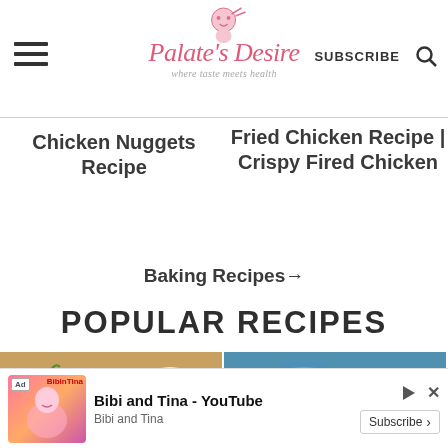Palate's Desire - where taste meets health
Chicken Nuggets Recipe
Fried Chicken Recipe | Crispy Fired Chicken
Baking Recipes→
POPULAR RECIPES
[Figure (photo): Two food photos side by side: left shows spices/lentils on wooden spoons on burlap, right shows colorful food items on a plate]
Ad Bibi and Tina - YouTube | Bibi and Tina | Subscribe